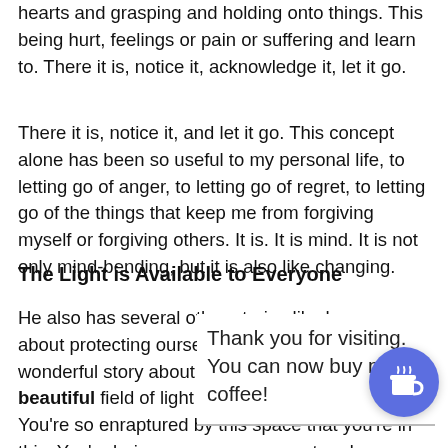hearts and grasping and holding onto things. This being hurt, feelings or pain or suffering and learn to. There it is, notice it, acknowledge it, let it go.
There it is, notice it, and let it go. This concept alone has been so useful to my personal life, to letting go of anger, to letting go of regret, to letting go of the things that keep me from forgiving myself or forgiving others. It is. It is mind. It is not only mind-bending, but it is also like changing.
The Light is Available to Everyone
He also has several other stories like how we go about protecting ourselves, and he tells this wonderful story about how you go into this beautiful field of light and in this field of light. You're so enraptured by this space that you're in this. You're being,                                                                    t and you de                                                           here, and as                                                          hou You're                                                             ou there.                                                              n, and you begin to feel safe. Keep you safe because you
Thank you for visiting. You can now buy me a coffee!